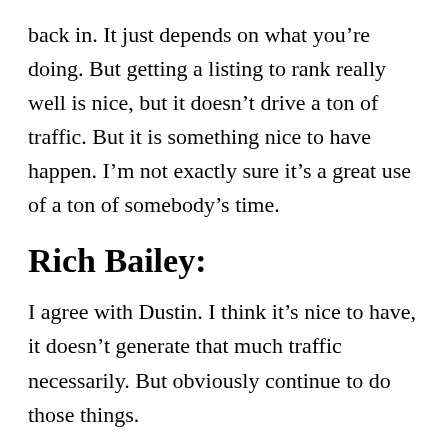back in. It just depends on what you're doing. But getting a listing to rank really well is nice, but it doesn't drive a ton of traffic. But it is something nice to have happen. I'm not exactly sure it's a great use of a ton of somebody's time.
Rich Bailey:
I agree with Dustin. I think it's nice to have, it doesn't generate that much traffic necessarily. But obviously continue to do those things.